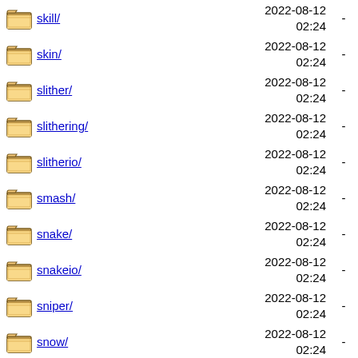skill/ 2022-08-12 02:24 -
skin/ 2022-08-12 02:24 -
slither/ 2022-08-12 02:24 -
slithering/ 2022-08-12 02:24 -
slitherio/ 2022-08-12 02:24 -
smash/ 2022-08-12 02:24 -
snake/ 2022-08-12 02:24 -
snakeio/ 2022-08-12 02:24 -
sniper/ 2022-08-12 02:24 -
snow/ 2022-08-12 02:24 -
snowboard/ 2022-08-12 02:24 -
... 2018-10-14 ...